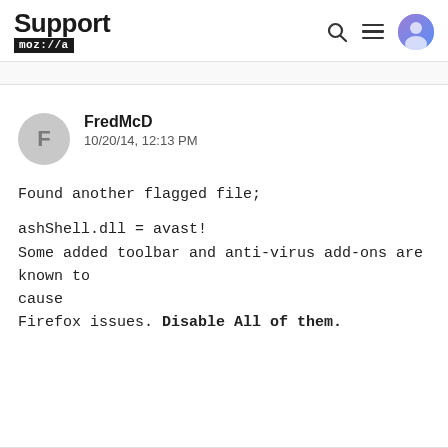Support moz://a
FredMcD
10/20/14, 12:13 PM
Found another flagged file;

ashShell.dll = avast!
Some added toolbar and anti-virus add-ons are known to cause
Firefox issues. Disable All of them.